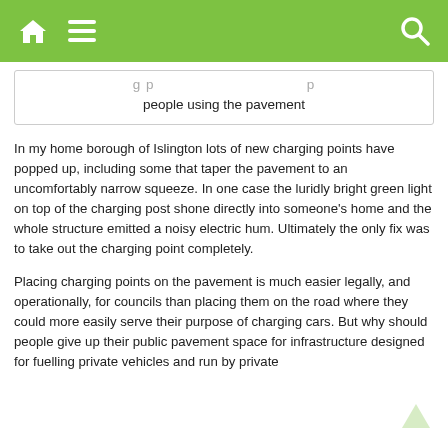[navigation bar with home, menu, and search icons]
g p ... p
people using the pavement
In my home borough of Islington lots of new charging points have popped up, including some that taper the pavement to an uncomfortably narrow squeeze. In one case the luridly bright green light on top of the charging post shone directly into someone’s home and the whole structure emitted a noisy electric hum. Ultimately the only fix was to take out the charging point completely.
Placing charging points on the pavement is much easier legally, and operationally, for councils than placing them on the road where they could more easily serve their purpose of charging cars. But why should people give up their public pavement space for infrastructure designed for fuelling private vehicles and run by private